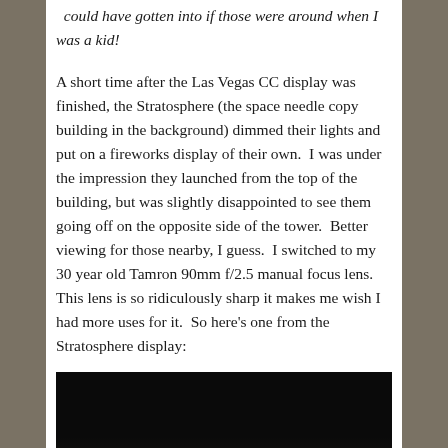could have gotten into if those were around when I was a kid!
A short time after the Las Vegas CC display was finished, the Stratosphere (the space needle copy building in the background) dimmed their lights and put on a fireworks display of their own.  I was under the impression they launched from the top of the building, but was slightly disappointed to see them going off on the opposite side of the tower.  Better viewing for those nearby, I guess.  I switched to my 30 year old Tamron 90mm f/2.5 manual focus lens.  This lens is so ridiculously sharp it makes me wish I had more uses for it.  So here’s one from the Stratosphere display:
[Figure (photo): Dark night photo of fireworks display near the Stratosphere tower in Las Vegas, mostly black with faint glow at bottom]